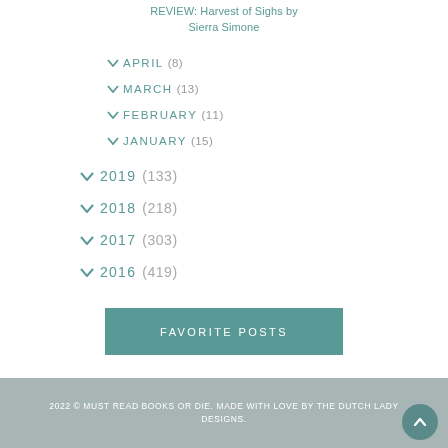REVIEW: Harvest of Sighs by Sierra Simone
APRIL (8)
MARCH (13)
FEBRUARY (11)
JANUARY (15)
2019 (133)
2018 (218)
2017 (303)
2016 (419)
2015 (491)
2014 (949)
2013 (557)
FAVORITE POSTS
2022 © MUST READ BOOKS OR DIE. MADE WITH LOVE BY THE DUTCH LADY DESIGNS.